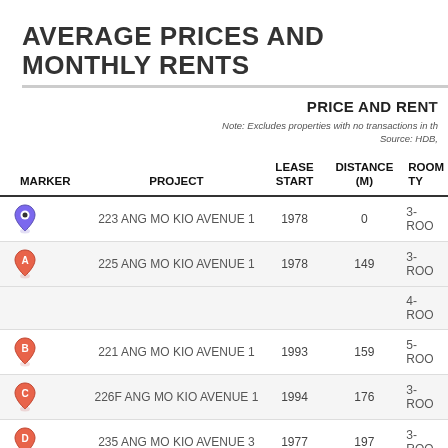AVERAGE PRICES AND MONTHLY RENTS
PRICE AND RENT
Note: Excludes properties with no transactions in th... Source: HDB,
| MARKER | PROJECT | LEASE START | DISTANCE (M) | ROOM TY |
| --- | --- | --- | --- | --- |
| [blue pin] | 223 ANG MO KIO AVENUE 1 | 1978 | 0 | 3-ROO |
| A | 225 ANG MO KIO AVENUE 1 | 1978 | 149 | 3-ROO |
|  |  |  |  | 4-ROO |
| B | 221 ANG MO KIO AVENUE 1 | 1993 | 159 | 5-ROO |
| C | 226F ANG MO KIO AVENUE 1 | 1994 | 176 | 3-ROO |
| D | 235 ANG MO KIO AVENUE 3 | 1977 | 197 | 3-ROO |
| E | 234 ANG MO KIO AVENUE 3 | 1993 | 207 | 4-ROO |
| F | 220 ANG MO KIO AVENUE 1 | 1977 | 275 | 3-ROO |